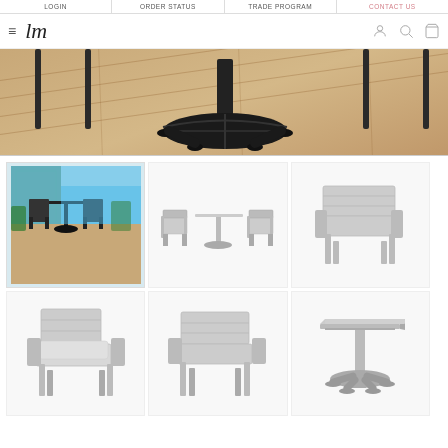LOGIN | ORDER STATUS | TRADE PROGRAM | CONTACT US
[Figure (screenshot): Website header with hamburger menu, lm script logo, user icon, search icon, and bag icon]
[Figure (photo): Close-up of outdoor furniture table legs on wood plank flooring — dark metal cross-base pedestal visible]
[Figure (photo): Lifestyle photo of outdoor dining set on terrace with ocean view — dark table and chairs]
[Figure (illustration): Product render: white/silver outdoor dining set — square pedestal table with two arm chairs, side view]
[Figure (illustration): Product render: white/silver outdoor arm chair, front-angled view]
[Figure (illustration): Product render: white/silver outdoor arm chair with cushion, side view]
[Figure (illustration): Product render: white/silver outdoor arm chair, front view]
[Figure (illustration): Product render: white/silver square pedestal dining table, side view]